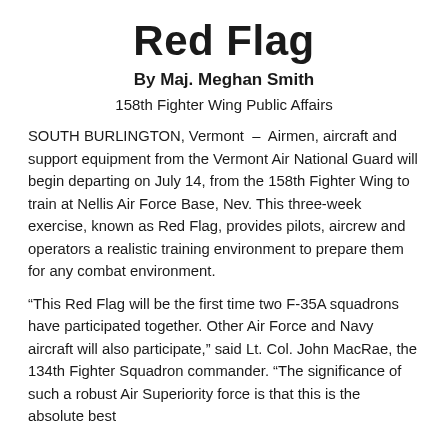Red Flag
By Maj. Meghan Smith
158th Fighter Wing Public Affairs
SOUTH BURLINGTON, Vermont – Airmen, aircraft and support equipment from the Vermont Air National Guard will begin departing on July 14, from the 158th Fighter Wing to train at Nellis Air Force Base, Nev. This three-week exercise, known as Red Flag, provides pilots, aircrew and operators a realistic training environment to prepare them for any combat environment.
“This Red Flag will be the first time two F-35A squadrons have participated together. Other Air Force and Navy aircraft will also participate,” said Lt. Col. John MacRae, the 134th Fighter Squadron commander. “The significance of such a robust Air Superiority force is that this is the absolute best